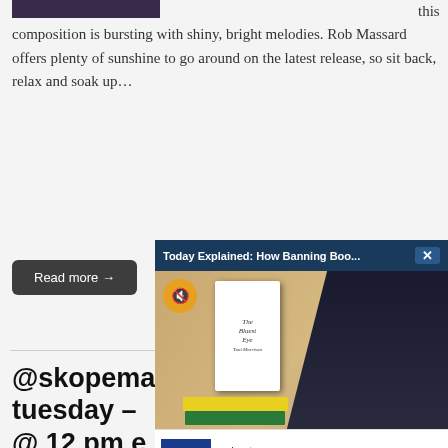[Figure (photo): Dark purple/black image at top left, partially visible]
this composition is bursting with shiny, bright melodies. Rob Massard offers plenty of sunshine to go around on the latest release, so sit back, relax and soak up…
Read more →
[Figure (screenshot): Video popup overlay: 'Today Explained: How Banning Boo...' with close button X, showing a person reading a book titled 'The Bluest Eye', with mute button and Petco advertisement below]
@skopemag news – tuesday – @ 12 pm e